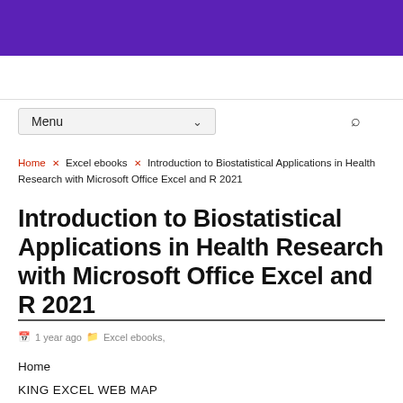[Figure (illustration): Purple/violet banner header image at the top of the page]
Menu ∨
Home × Excel ebooks × Introduction to Biostatistical Applications in Health Research with Microsoft Office Excel and R 2021
Introduction to Biostatistical Applications in Health Research with Microsoft Office Excel and R 2021
1 year ago  Excel ebooks,
Home
KING EXCEL WEB MAP